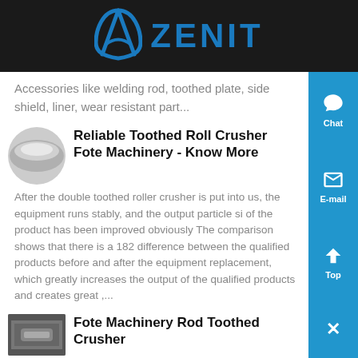ZENIT
Accessories like welding rod, toothed plate, side shield, liner, wear resistant part...
[Figure (photo): Round metallic component thumbnail for Reliable Toothed Roll Crusher article]
Reliable Toothed Roll Crusher Fote Machinery - Know More
After the double toothed roller crusher is put into us, the equipment runs stably, and the output particle si of the product has been improved obviously The comparison shows that there is a 182 difference between the qualified products before and after the equipment replacement, which greatly increases the output of the qualified products and creates great ,...
[Figure (photo): Machinery rod toothed crusher thumbnail]
Fote Machinery Rod Toothed Crusher